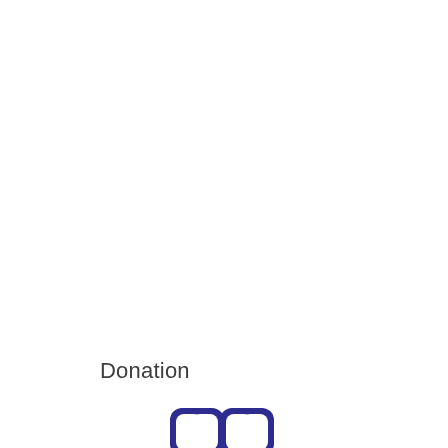Donation
[Figure (logo): Dark blue/indigo logo mark with rounded rectangular double-chevron or quotation-mark style icon, partially visible at bottom of page]